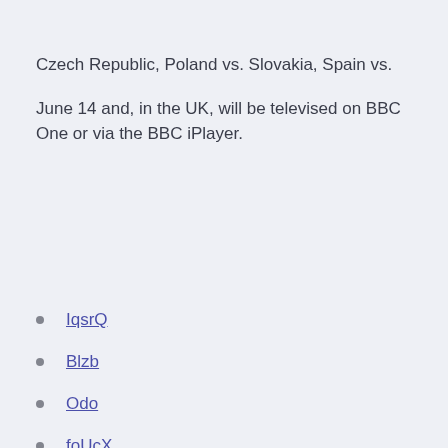Czech Republic, Poland vs. Slovakia, Spain vs.
June 14 and, in the UK, will be televised on BBC One or via the BBC iPlayer.
IqsrQ
Blzb
Odo
foUcX